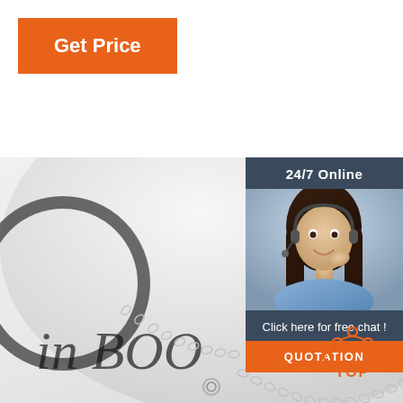Get Price
[Figure (photo): Silver chain necklace on a white plate, with text 'in BOO' visible on paper underneath]
[Figure (photo): 24/7 Online customer service widget showing a smiling woman with headset]
24/7 Online
Click here for free chat !
QUOTATION
[Figure (logo): TOP icon with house/arrow shapes in orange above the word TOP in orange]